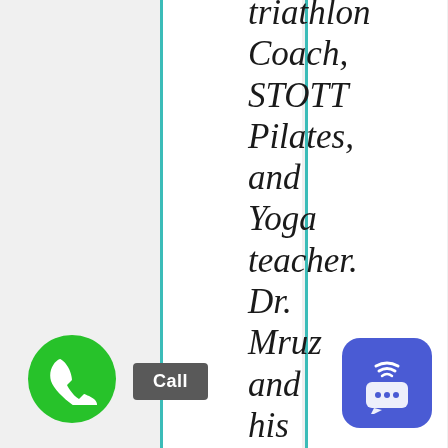triathlon Coach, STOTT Pilates, and Yoga teacher. Dr. Mruz and his staff is my "go to" referral chiropractor for
[Figure (other): Green circular phone call button with white phone handset icon]
Call
[Figure (other): Blue rounded-square chat/messaging widget icon with wifi signal and speech bubble with ellipsis]